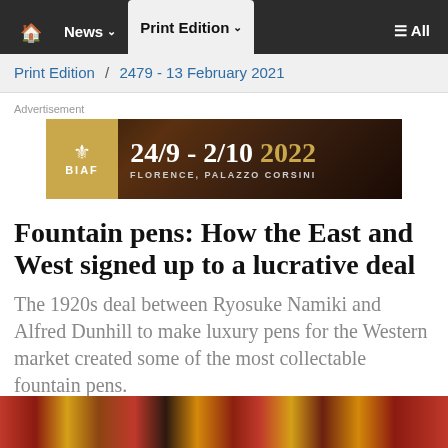🏠 News ∨  Print Edition ∨  ≡ All
Print Edition / 2479 - 13 February 2021
[Figure (other): BIAF advertisement banner: 24/9 - 2/10 2022, Florence, Palazzo Corsini]
Fountain pens: How the East and West signed up to a lucrative deal
The 1920s deal between Ryosuke Namiki and Alfred Dunhill to make luxury pens for the Western market created some of the most collectable fountain pens.
[Figure (photo): Close-up photograph of decorative lacquered fountain pens with ornate patterns]